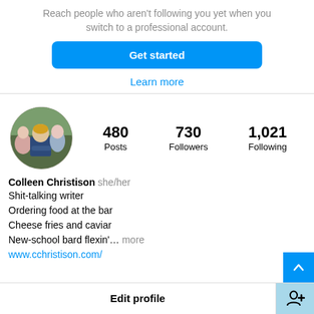Reach people who aren't following you yet when you switch to a professional account.
Get started
Learn more
[Figure (photo): Circular profile photo of a group of people outdoors]
480 Posts  730 Followers  1,021 Following
Colleen Christison she/her
Shit-talking writer
Ordering food at the bar
Cheese fries and caviar
New-school bard flexin'... more
www.cchristison.com/
Edit profile